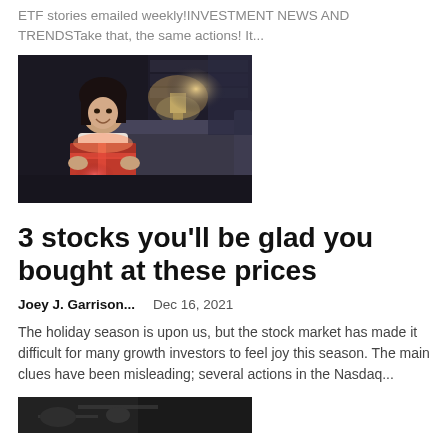ETF stories emailed weekly!INVESTMENT NEWS AND TRENDSTake that, the same actions! It...
[Figure (photo): Young girl smiling and opening a glowing red gift box in a dimly lit living room with a lamp in the background]
3 stocks you'll be glad you bought at these prices
Joey J. Garrison...   Dec 16, 2021
The holiday season is upon us, but the stock market has made it difficult for many growth investors to feel joy this season. The main clues have been misleading; several actions in the Nasdaq...
[Figure (photo): Partial image at bottom of page, dark toned automotive or industrial scene]